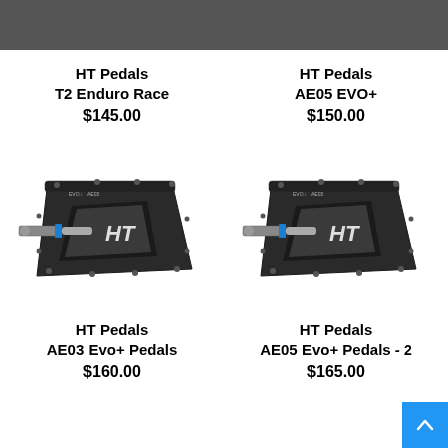[Figure (photo): HT Pedals T2 Enduro Race product image (top, partial, black background)]
[Figure (photo): HT Pedals AE05 EVO+ product image (top, partial, black background)]
HT Pedals
T2 Enduro Race
$145.00
HT Pedals
AE05 EVO+
$150.00
[Figure (photo): HT Pedals AE03 Evo+ Pedals product image, black flat pedal with HT logo and blue accent ring]
[Figure (photo): HT Pedals AE05 Evo+ Pedals - 2 product image, black flat pedal with HT logo and blue accent ring]
HT Pedals
AE03 Evo+ Pedals
$160.00
HT Pedals
AE05 Evo+ Pedals - 2
$165.00